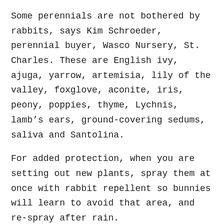Some perennials are not bothered by rabbits, says Kim Schroeder, perennial buyer, Wasco Nursery, St. Charles. These are English ivy, ajuga, yarrow, artemisia, lily of the valley, foxglove, aconite, iris, peony, poppies, thyme, Lychnis, lamb's ears, ground-covering sedums, saliva and Santolina.
For added protection, when you are setting out new plants, spray them at once with rabbit repellent so bunnies will learn to avoid that area, and re-spray after rain.
Good advice from:
http://chicagolandgardening.com/index.php/web/questions/qa-pests-rabbit-proof-plants